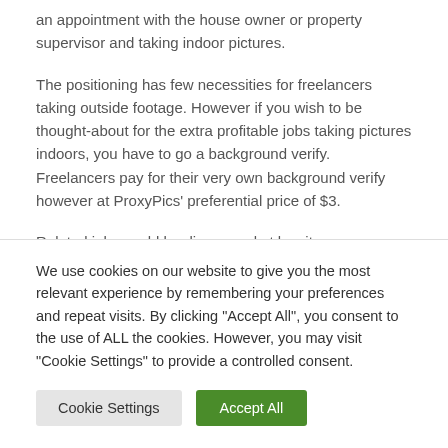an appointment with the house owner or property supervisor and taking indoor pictures.
The positioning has few necessities for freelancers taking outside footage. However if you wish to be thought-about for the extra profitable jobs taking pictures indoors, you have to go a background verify. Freelancers pay for their very own background verify however at ProxyPics' preferential price of $3.
Related jobs could be discovered at lvueit.
Nevertheless, ProxyPics seems to pay higher
We use cookies on our website to give you the most relevant experience by remembering your preferences and repeat visits. By clicking "Accept All", you consent to the use of ALL the cookies. However, you may visit "Cookie Settings" to provide a controlled consent.